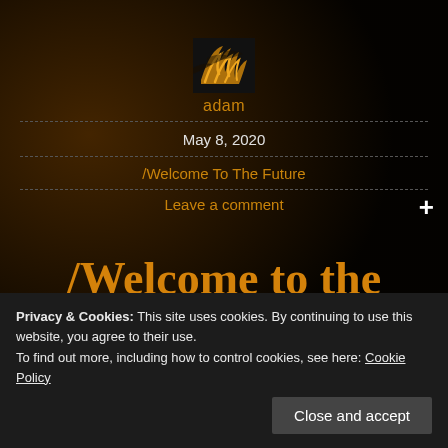[Figure (logo): Stylized logo with orange/gold flame-like streaks on black background]
adam
May 8, 2020
/Welcome To The Future
Leave a comment
/Welcome to the Future
Privacy & Cookies: This site uses cookies. By continuing to use this website, you agree to their use.
To find out more, including how to control cookies, see here: Cookie Policy
Close and accept